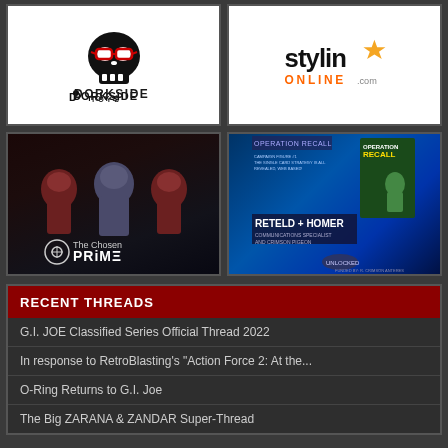[Figure (logo): Dorkside Toys logo - skull with red glasses and text DORKSIDE TOYS]
[Figure (logo): Stylin Online logo - text stylin with gold star and ONLINE.com]
[Figure (illustration): The Chosen Prime - sci-fi characters with logo]
[Figure (illustration): Operation Recall - RETELD + HOMER Communications Specialist and Crimson Pigeon figure card]
RECENT THREADS
G.I. JOE Classified Series Official Thread 2022
In response to RetroBlasting's "Action Force 2: At the...
O-Ring Returns to G.I. Joe
The Big ZARANA & ZANDAR Super-Thread